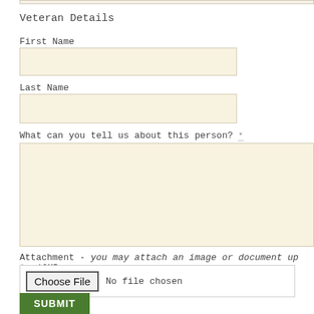Veteran Details
First Name
Last Name
What can you tell us about this person? ...
Attachment - you may attach an image or document up to 10MB
Choose File  No file chosen
SUBMIT